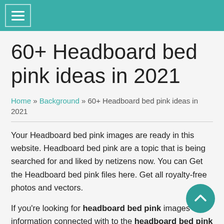Navigation header with hamburger menu
60+ Headboard bed pink ideas in 2021
Home » Background » 60+ Headboard bed pink ideas in 2021
Your Headboard bed pink images are ready in this website. Headboard bed pink are a topic that is being searched for and liked by netizens now. You can Get the Headboard bed pink files here. Get all royalty-free photos and vectors.
If you're looking for headboard bed pink images information connected with to the headboard bed pink interest, you have come to the right site. Our site always gives you suggestions for viewing the maximum quality video and picture content, please kindly hunt and find